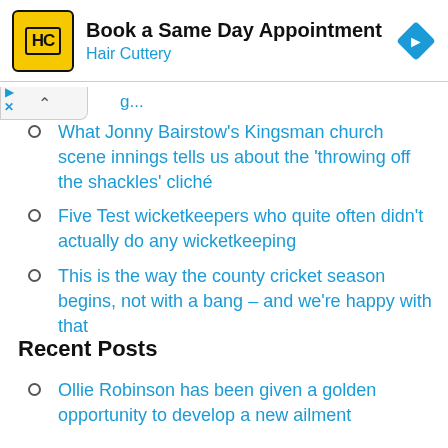[Figure (screenshot): Hair Cuttery advertisement banner with yellow logo, 'Book a Same Day Appointment' title, 'Hair Cuttery' subtitle in blue, and a blue navigation diamond icon on the right.]
What Jonny Bairstow's Kingsman church scene innings tells us about the 'throwing off the shackles' cliché
Five Test wicketkeepers who quite often didn't actually do any wicketkeeping
This is the way the county cricket season begins, not with a bang – and we're happy with that
Recent Posts
Ollie Robinson has been given a golden opportunity to develop a new ailment